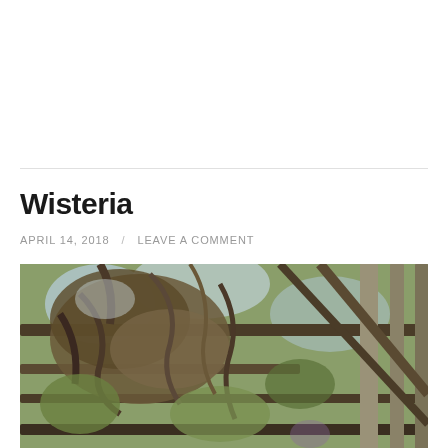Wisteria
APRIL 14, 2018  /  LEAVE A COMMENT
[Figure (photo): Looking up through a wisteria-covered pergola structure with wooden beams, intertwined woody vines and branches, with green foliage and glimpses of sky visible through the lattice overhead. Hint of purple wisteria blooms visible in background.]